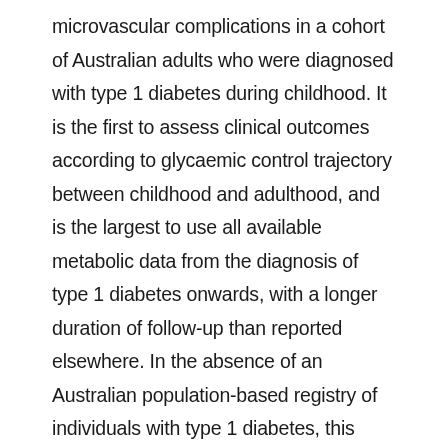microvascular complications in a cohort of Australian adults who were diagnosed with type 1 diabetes during childhood. It is the first to assess clinical outcomes according to glycaemic control trajectory between childhood and adulthood, and is the largest to use all available metabolic data from the diagnosis of type 1 diabetes onwards, with a longer duration of follow-up than reported elsewhere. In the absence of an Australian population-based registry of individuals with type 1 diabetes, this data linkage study facilitated assessment of the effects of glycaemic control during the paediatric and adult periods. From this novel perspective, we found that, after adjusting for duration of diabetes (a non-modifiable factor), HbA1c level throughout the course of life was independently associated with the risk of retinopathy in adulthood; the predictive effects of paediatric and adult HbA1c levels were equivalent. However, as severe retinopathy commenced during the